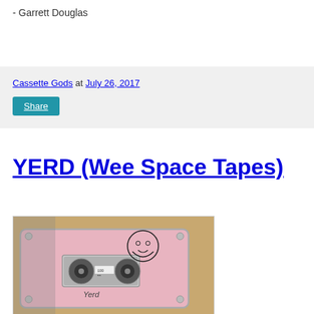- Garrett Douglas
Cassette Gods at July 26, 2017
Share
YERD (Wee Space Tapes)
[Figure (photo): A pink cassette tape with a cartoon bearded face drawn on it and the word 'Yerd' printed on the label, placed on a wooden surface next to what appears to be album artwork.]